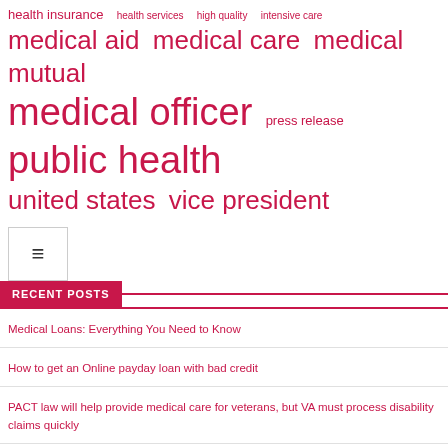[Figure (other): Word cloud with medical and health-related terms in varying sizes, all in crimson/red color. Terms include: health insurance, health services, high quality, intensive care, medical aid, medical care, medical mutual, medical officer, press release, public health, united states, vice president]
RECENT POSTS
Medical Loans: Everything You Need to Know
How to get an Online payday loan with bad credit
PACT law will help provide medical care for veterans, but VA must process disability claims quickly
MTG files bill to criminalize gender-affirming medical care for minors
Mutual Medical Aid before Roe v. wade
Army provides medical aid to hiker in Ganderbal